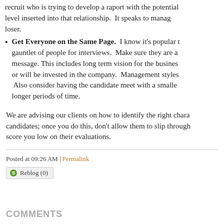recruit who is trying to develop a raport with the potential level inserted into that relationship. It speaks to management loser.
Get Everyone on the Same Page. I know it's popular to gauntlet of people for interviews. Make sure they are all message. This includes long term vision for the business or will be invested in the company. Management styles Also consider having the candidate meet with a smaller longer periods of time.
We are advising our clients on how to identify the right characters; once you do this, don't allow them to slip through score you low on their evaluations.
Posted at 09:26 AM | Permalink
Reblog (0)
COMMENTS
You can follow this conversation by subscribing to the comment feed